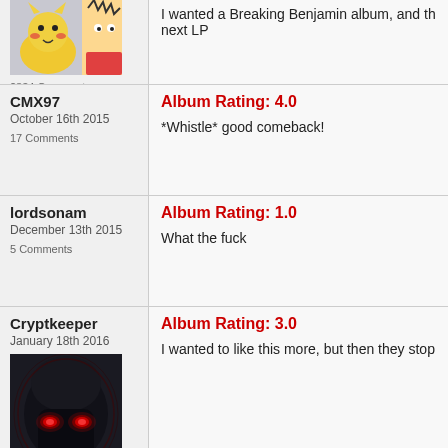[Figure (photo): Cartoon avatar showing Pikachu and Bart Simpson]
I wanted a Breaking Benjamin album, and the next LP
2834 Comments
CMX97
October 16th 2015
17 Comments
Album Rating: 4.0
*Whistle* good comeback!
lordsonam
December 13th 2015
5 Comments
Album Rating: 1.0
What the fuck
Cryptkeeper
January 18th 2016
[Figure (photo): Dark sci-fi avatar with red glowing eyes, Darth Vader style]
2065 Comments
Album Rating: 3.0
I wanted to like this more, but then they stop
Toondude10